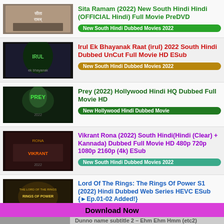[Figure (other): Movie poster thumbnail for Sita Ramam (2022)]
Sita Ramam (2022) New South Hindi Hindi (OFFICIAL Hindi) Full Movie PreDVD
New South Hindi Dubbed Movies 2022
[Figure (other): Movie poster thumbnail for Irul Ek Bhayanak Raat (2022)]
Irul Ek Bhayanak Raat (irul) 2022 South Hindi Dubbed UnCut Full Movie HD ESub
New South Hindi Dubbed Movies 2022
[Figure (other): Movie poster thumbnail for Prey (2022)]
Prey (2022) Hollywood Hindi HQ Dubbed Full Movie HD
New Hollywood Hindi Dubbed Movie
[Figure (other): Movie poster thumbnail for Vikrant Rona (2022)]
Vikrant Rona (2022) South Hindi(Hindi (Clear) + Kannada) Dubbed Full Movie HD 480p 720p 1080p 2160p (4k) ESub
New South Hindi Dubbed Movies 2022
[Figure (other): Movie poster thumbnail for Lord Of The Rings: The Rings Of Power S1 (2022)]
Lord Of The Rings: The Rings Of Power S1 (2022) Hindi Dubbed Web Series HEVC ESub {►Ep.01-02 Added!}
Web Series
Download Now
Dunno name subtitle 2 - Ehm Ehm Hmm (etc2)